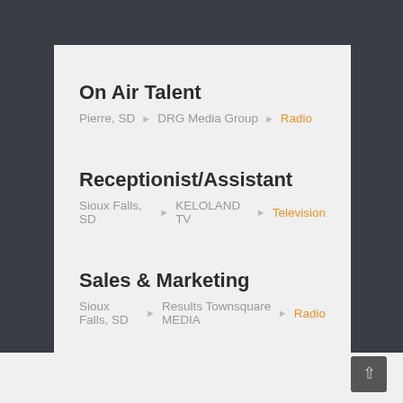On Air Talent — Pierre, SD ▶ DRG Media Group ▶ Radio
Receptionist/Assistant — Sioux Falls, SD ▶ KELOLAND TV ▶ Television
Sales & Marketing — Sioux Falls, SD ▶ Results Townsquare MEDIA ▶ Radio
Brand Manager — Sioux Falls, SD ▶ KKLS-FM / Townsquare Media ▶ Radio
Digital News Producer — Sioux Falls, SD ▶ KELOLAND TV ▶ Television